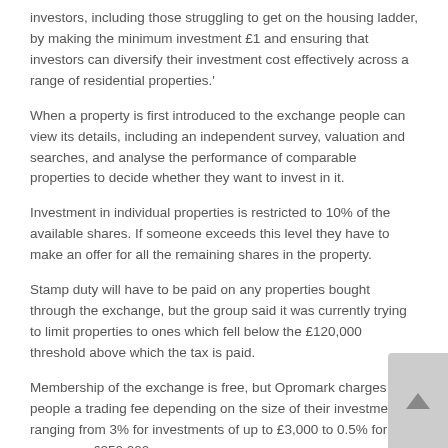investors, including those struggling to get on the housing ladder, by making the minimum investment £1 and ensuring that investors can diversify their investment cost effectively across a range of residential properties.'
When a property is first introduced to the exchange people can view its details, including an independent survey, valuation and searches, and analyse the performance of comparable properties to decide whether they want to invest in it.
Investment in individual properties is restricted to 10% of the available shares. If someone exceeds this level they have to make an offer for all the remaining shares in the property.
Stamp duty will have to be paid on any properties bought through the exchange, but the group said it was currently trying to limit properties to ones which fell below the £120,000 threshold above which the tax is paid.
Membership of the exchange is free, but Opromark charges people a trading fee depending on the size of their investment, ranging from 3% for investments of up to £3,000 to 0.5% for ones over £250,000.